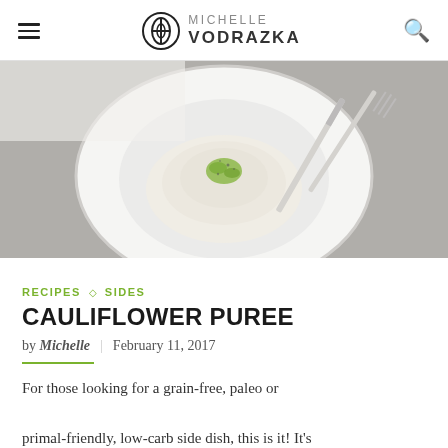MICHELLE VODRAZKA
[Figure (photo): Overhead view of a plate with cauliflower puree garnished with herbs and pepper, accompanied by a knife and fork on a grey linen background]
RECIPES ◇ SIDES
CAULIFLOWER PUREE
by Michelle | February 11, 2017
For those looking for a grain-free, paleo or primal-friendly, low-carb side dish, this is it! It's